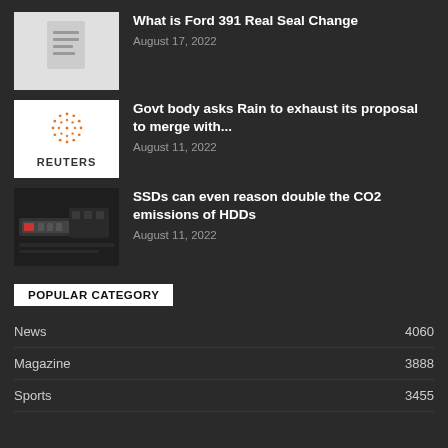[Figure (illustration): Document placeholder thumbnail with grey background and white paper icon]
What is Ford 391 Real Seal Change
August 17, 2022
[Figure (logo): Reuters logo on white background with orange dot matrix globe icon]
Govt body asks Rain to exhaust its proposal to merge with...
August 11, 2022
[Figure (photo): Dark photo of computer hardware components, SSD and motherboard]
SSDs can even reason double the CO2 emissions of HDDs
August 11, 2022
POPULAR CATEGORY
News	4060
Magazine	3888
Sports	3455